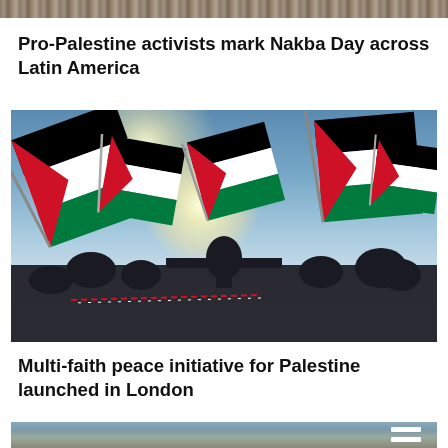[Figure (photo): Cropped top portion of a crowd photo, partial view of people]
Pro-Palestine activists mark Nakba Day across Latin America
[Figure (photo): Silhouettes of people waving Palestinian flags against a bright blue sky with sun glare]
Multi-faith peace initiative for Palestine launched in London
[Figure (photo): Partially visible photo showing rubble/destroyed buildings with a Palestinian flag and a menu icon overlay]